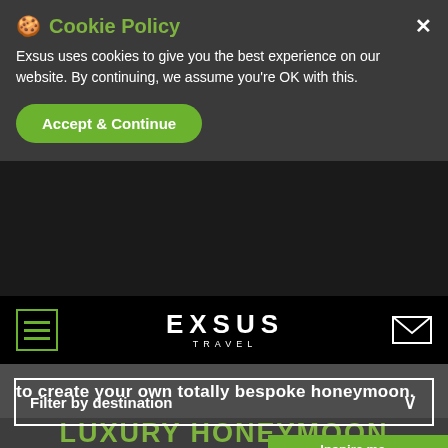[Figure (screenshot): Website screenshot showing Exsus Travel website with cookie policy banner overlay, navigation bar with hamburger menu and logo, partial body text about bespoke honeymoon, Luxury Honeymoon Ideas heading, filter by destination dropdown, and Inspire me button.]
Cookie Policy
Exsus uses cookies to give you the best experience on our website. By continuing, we assume you're OK with this.
Accept & Continue
EXSUS TRAVEL
to create your own totally bespoke honeymoon.
LUXURY HONEYMOON IDEAS
Filter by destination
Inspire me